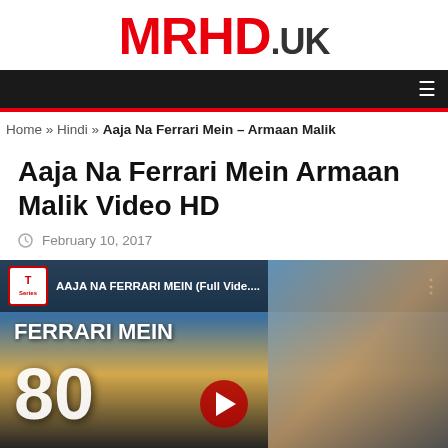MRHD.UK
Home » Hindi » Aaja Na Ferrari Mein – Armaan Malik
Aaja Na Ferrari Mein Armaan Malik Video HD
February 10, 2017
[Figure (screenshot): YouTube video thumbnail for 'AAJA NA FERRARI MEIN (Full Vide...' featuring T-Series logo, text 'FERRARI MEIN', large number 80, and a play button with a person visible on the right side.]